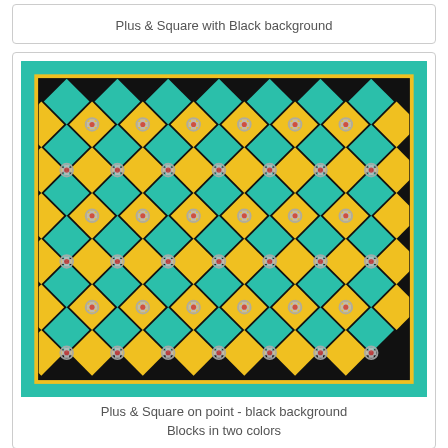Plus & Square with Black background
[Figure (illustration): Quilt pattern: Plus & Square on point with black background. Teal/turquoise border with inner pattern of black, teal, and yellow diamond blocks arranged in a diagonal grid with decorative connector pieces.]
Plus & Square on point - black background
Blocks in two colors